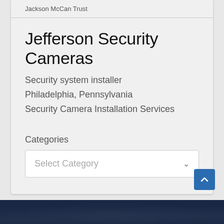Jackson McCan Trust
Jefferson Security Cameras
Security system installer
Philadelphia, Pennsylvania
Security Camera Installation Services
Categories
Select Category